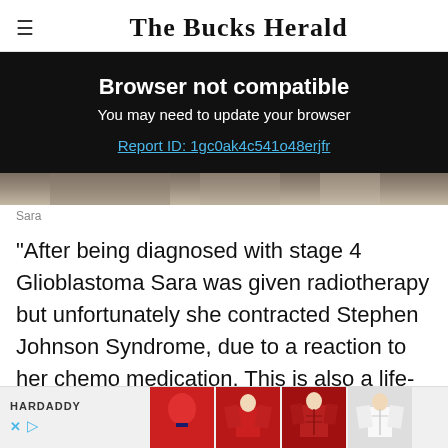The Bucks Herald
[Figure (screenshot): Browser not compatible overlay on dark background with text: Browser not compatible, You may need to update your browser, Report ID: 1gc0ak4c541o48erjfr]
[Figure (photo): Partial photo of a person named Sara, cropped at bottom]
Sara
"After being diagnosed with stage 4 Glioblastoma Sara was given radiotherapy but unfortunately she contracted Stephen Johnson Syndrome, due to a reaction to her chemo medication. This is also a life- threatening cond...
[Figure (other): HARDADDY advertisement banner with clothing images at the bottom of the page]